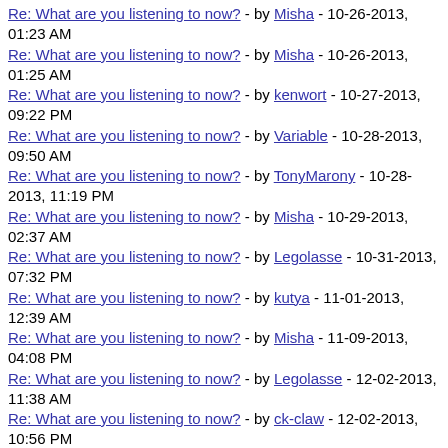Re: What are you listening to now? - by Misha - 10-26-2013, 01:23 AM
Re: What are you listening to now? - by Misha - 10-26-2013, 01:25 AM
Re: What are you listening to now? - by kenwort - 10-27-2013, 09:22 PM
Re: What are you listening to now? - by Variable - 10-28-2013, 09:50 AM
Re: What are you listening to now? - by TonyMarony - 10-28-2013, 11:19 PM
Re: What are you listening to now? - by Misha - 10-29-2013, 02:37 AM
Re: What are you listening to now? - by Legolasse - 10-31-2013, 07:32 PM
Re: What are you listening to now? - by kutya - 11-01-2013, 12:39 AM
Re: What are you listening to now? - by Misha - 11-09-2013, 04:08 PM
Re: What are you listening to now? - by Legolasse - 12-02-2013, 11:38 AM
Re: What are you listening to now? - by ck-claw - 12-02-2013, 10:56 PM
Re: What are you listening to now? - by kenwort - 12-03-2013, 01:43 PM
Re: What are you listening to now? - by kenwort - 12-07-2013,